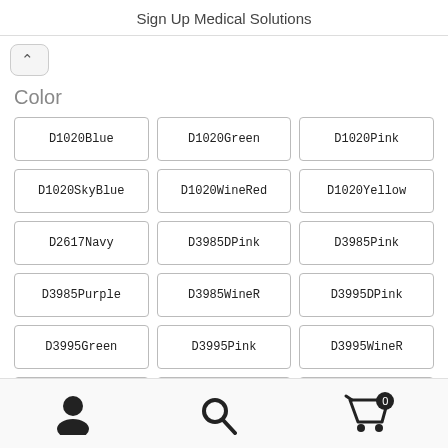Sign Up Medical Solutions
Color
D1020Blue
D1020Green
D1020Pink
D1020SkyBlue
D1020WineRed
D1020Yellow
D2617Navy
D3985DPink
D3985Pink
D3985Purple
D3985WineR
D3995DPink
D3995Green
D3995Pink
D3995WineR
D4318Gray
D4318Pink
D4318Red